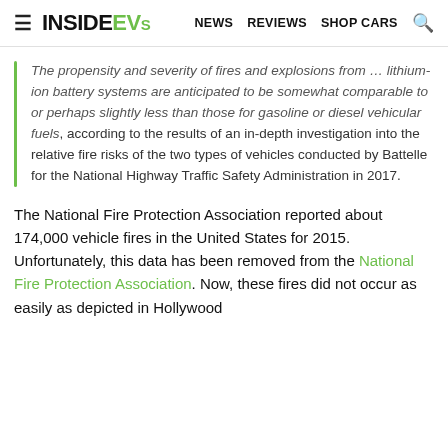≡ INSIDEEVS   NEWS   REVIEWS   SHOP CARS   🔍
The propensity and severity of fires and explosions from … lithium-ion battery systems are anticipated to be somewhat comparable to or perhaps slightly less than those for gasoline or diesel vehicular fuels, according to the results of an in-depth investigation into the relative fire risks of the two types of vehicles conducted by Battelle for the National Highway Traffic Safety Administration in 2017.
The National Fire Protection Association reported about 174,000 vehicle fires in the United States for 2015. Unfortunately, this data has been removed from the National Fire Protection Association. Now, these fires did not occur as easily as depicted in Hollywood